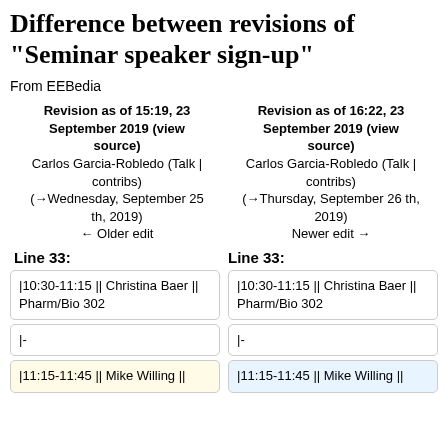Difference between revisions of "Seminar speaker sign-up"
From EEBedia
| Revision as of 15:19, 23 September 2019 (view source) | Revision as of 16:22, 23 September 2019 (view source) |
| --- | --- |
| Carlos Garcia-Robledo (Talk | contribs) | Carlos Garcia-Robledo (Talk | contribs) |
| (→Wednesday, September 25 th, 2019) | (→Thursday, September 26 th, 2019) |
| ← Older edit | Newer edit → |
Line 33:
Line 33:
|10:30-11:15 || Christina Baer || Pharm/Bio 302
|10:30-11:15 || Christina Baer || Pharm/Bio 302
|-
|-
|11:15-11:45 || Mike Willing ||
|11:15-11:45 || Mike Willing ||